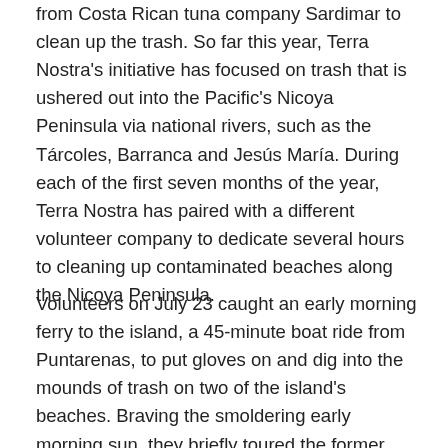from Costa Rican tuna company Sardimar to clean up the trash. So far this year, Terra Nostra's initiative has focused on trash that is ushered out into the Pacific's Nicoya Peninsula via national rivers, such as the Tárcoles, Barranca and Jesús María. During each of the first seven months of the year, Terra Nostra has paired with a different volunteer company to dedicate several hours to cleaning up contaminated beaches along the Nicoya Peninsula.
Volunteers on July 23 caught an early morning ferry to the island, a 45-minute boat ride from Puntarenas, to put gloves on and dig into the mounds of trash on two of the island's beaches. Braving the smoldering early morning sun, they briefly toured the former prison's eerie jail cells and church, before plodding through the jungle to the polluted beaches. After separating into teams, trash collectors went to work, burrowing through the driftwood to extract plastic bottles, sandals, glass, toys and